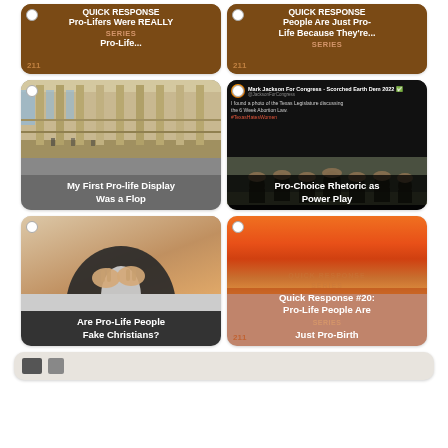[Figure (screenshot): Brown card: Pro-Lifers Were REALLY Pro-Life... Quick Response Series label, number 211]
[Figure (screenshot): Brown card: People Are Just Pro-Life Because They're... Quick Response Series label, number 211]
[Figure (screenshot): Photo of architecture interior with caption: My First Pro-life Display Was a Flop]
[Figure (screenshot): Twitter/meme screenshot with Taliban photo captioned: Pro-Choice Rhetoric as Power Play]
[Figure (screenshot): Person with crossed fingers with caption: Are Pro-Life People Fake Christians?]
[Figure (screenshot): Orange Quick Response card #20: Pro-Life People Are Just Pro-Birth]
[Figure (screenshot): Partial card visible at bottom of page]